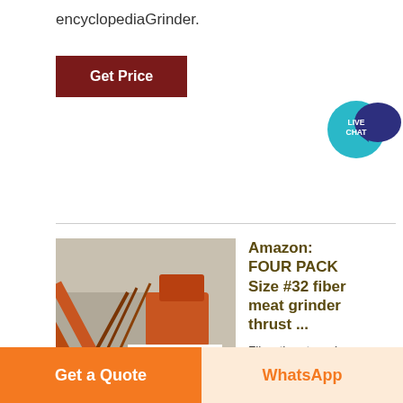encyclopediaGrinder.
Get Price
[Figure (other): Live Chat bubble icon with teal circle and dark blue speech bubble]
[Figure (photo): Industrial mining/construction machinery (conveyor/crusher) with ACRUSHER Mining Equipment logo overlay]
Amazon: FOUR PACK Size #32 fiber meat grinder thrust ...
Fiber thrust washers for many size #32 meat grinders. Slide one of the washers on the end of the auger stem to help reduce friction, noise and heat. Your meat grinders will usually require this type washer. If your
Get a Quote
WhatsApp